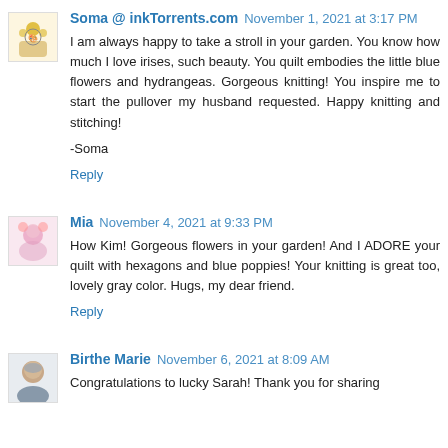Soma @ inkTorrents.com — November 1, 2021 at 3:17 PM
I am always happy to take a stroll in your garden. You know how much I love irises, such beauty. You quilt embodies the little blue flowers and hydrangeas. Gorgeous knitting! You inspire me to start the pullover my husband requested. Happy knitting and stitching!

-Soma
Reply
Mia — November 4, 2021 at 9:33 PM
How Kim! Gorgeous flowers in your garden! And I ADORE your quilt with hexagons and blue poppies! Your knitting is great too, lovely gray color. Hugs, my dear friend.
Reply
Birthe Marie — November 6, 2021 at 8:09 AM
Congratulations to lucky Sarah! Thank you for sharing...